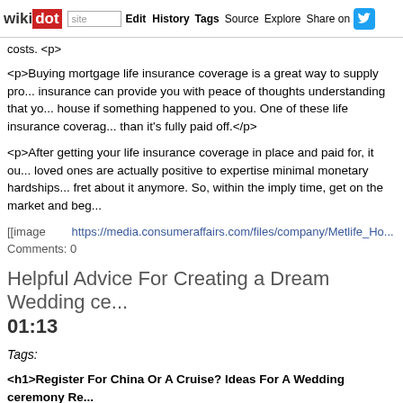wikidot | site Edit History Tags Source Explore Share on Twitter
<p>Buying mortgage life insurance coverage is a great way to supply pro... insurance can provide you with peace of thoughts understanding that yo... house if something happened to you. One of these life insurance coverag... than it's fully paid off.</p>
<p>After getting your life insurance coverage in place and paid for, it ou... loved ones are actually positive to expertise minimal monetary hardships... fret about it anymore. So, within the imply time, get on the market and beg...</p>
[[image https://media.consumeraffairs.com/files/company/Metlife_Ho...
Comments: 0
Helpful Advice For Creating a Dream Wedding ce... 01:13
Tags:
<h1>Register For China Or A Cruise? Ideas For A Wedding ceremony Re...
<p>What is the perfect wedding? Your Big Day Preparation Made Aweso... makes up the wedding! No doubt, there are various decisions to mak... suggestions out there for the perfect day. Be life like and affordable, just... Make this a day that's fondly remembered. That can assist you, read the... methods to just do that!</p>
<p>An incredible wedding ceremony tip is to scout out the place you'd... earlier than you guide it. Scouting the place out means that you can see...</p>